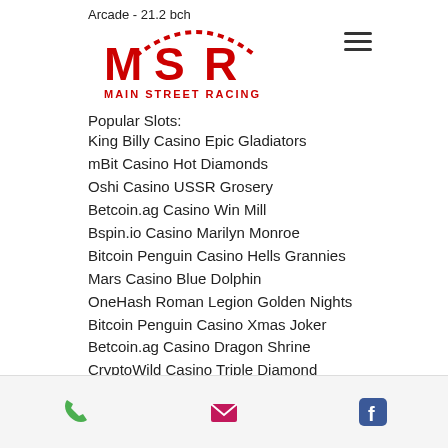Arcade - 21.2 bch
[Figure (logo): MSR Main Street Racing logo with red arch and text]
Popular Slots:
King Billy Casino Epic Gladiators
mBit Casino Hot Diamonds
Oshi Casino USSR Grosery
Betcoin.ag Casino Win Mill
Bspin.io Casino Marilyn Monroe
Bitcoin Penguin Casino Hells Grannies
Mars Casino Blue Dolphin
OneHash Roman Legion Golden Nights
Bitcoin Penguin Casino Xmas Joker
Betcoin.ag Casino Dragon Shrine
CryptoWild Casino Triple Diamond
King Billy Casino Apollo Rising
mBTC free bet Lolly Land
1xSlots Casino Crazy 80's
Phone | Email | Facebook